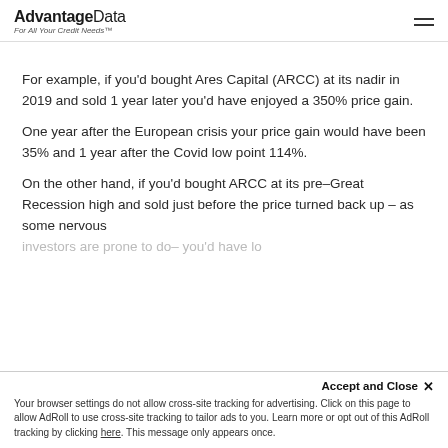AdvantageData — For All Your Credit Needs™
For example, if you'd bought Ares Capital (ARCC) at its nadir in 2019 and sold 1 year later you'd have enjoyed a 350% price gain.
One year after the European crisis your price gain would have been 35% and 1 year after the Covid low point 114%.
On the other hand, if you'd bought ARCC at its pre–Great Recession high and sold just before the price turned back up – as some nervous
investors are prone to do– you'd have lo… [faded/obscured]
Accept and Close ×
Your browser settings do not allow cross-site tracking for advertising. Click on this page to allow AdRoll to use cross-site tracking to tailor ads to you. Learn more or opt out of this AdRoll tracking by clicking here. This message only appears once.